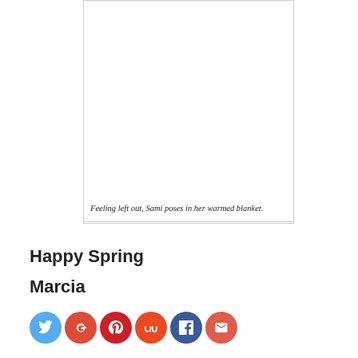[Figure (photo): A photo placeholder (white area) of Sami in her warmed blanket]
Feeling left out, Sami poses in her warmed blanket.
Happy Spring
Marcia
[Figure (infographic): Social sharing buttons: Twitter, Google+, Pinterest, StumbleUpon, Facebook, Email]